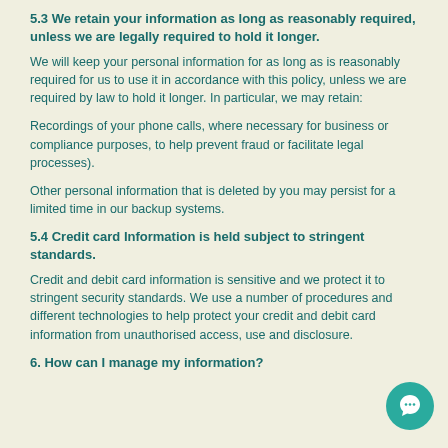5.3 We retain your information as long as reasonably required, unless we are legally required to hold it longer.
We will keep your personal information for as long as is reasonably required for us to use it in accordance with this policy, unless we are required by law to hold it longer. In particular, we may retain:
Recordings of your phone calls, where necessary for business or compliance purposes, to help prevent fraud or facilitate legal processes).
Other personal information that is deleted by you may persist for a limited time in our backup systems.
5.4 Credit card Information is held subject to stringent standards.
Credit and debit card information is sensitive and we protect it to stringent security standards. We use a number of procedures and different technologies to help protect your credit and debit card information from unauthorised access, use and disclosure.
6. How can I manage my information?